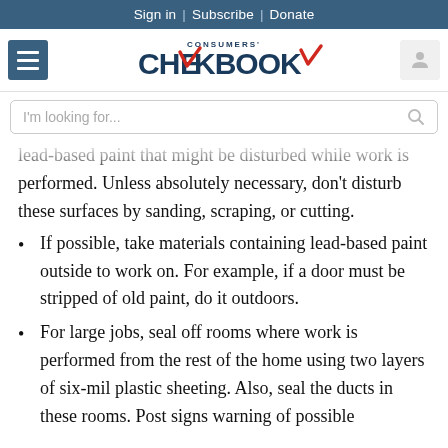Sign in | Subscribe | Donate
[Figure (logo): Consumers' Checkbook logo with red checkmark]
I'm looking for...
lead-based paint that might be disturbed while work is performed. Unless absolutely necessary, don't disturb these surfaces by sanding, scraping, or cutting.
If possible, take materials containing lead-based paint outside to work on. For example, if a door must be stripped of old paint, do it outdoors.
For large jobs, seal off rooms where work is performed from the rest of the home using two layers of six-mil plastic sheeting. Also, seal the ducts in these rooms. Post signs warning of possible